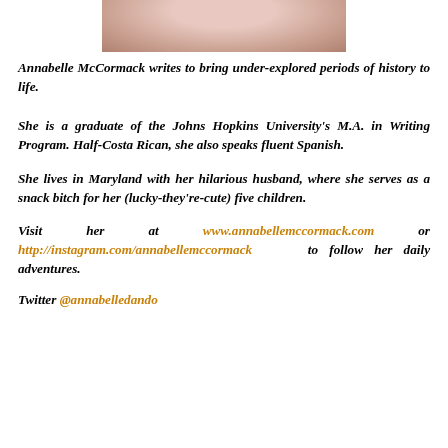[Figure (photo): Partial photo of Annabelle McCormack, showing a person in a pink sweater, cropped at the top of the page]
Annabelle McCormack writes to bring under-explored periods of history to life.
She is a graduate of the Johns Hopkins University's M.A. in Writing Program. Half-Costa Rican, she also speaks fluent Spanish.
She lives in Maryland with her hilarious husband, where she serves as a snack bitch for her (lucky-they're-cute) five children.
Visit her at www.annabellemccormack.com or http://instagram.com/annabellemccormack to follow her daily adventures.
Twitter @annabelledando